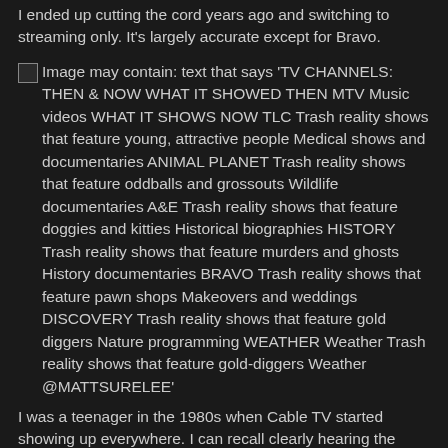I ended up cutting the cord years ago and switching to streaming only. It's largely accurate except for Bravo.
[Figure (other): Image may contain: text that says 'TV CHANNELS: THEN & NOW WHAT IT SHOWED THEN MTV Music videos WHAT IT SHOWS NOW TLC Trash reality shows that feature young, attractive people Medical shows and documentaries ANIMAL PLANET Trash reality shows that feature oddballs and grossouts Wildlife documentaries A&E Trash reality shows that feature doggies and kitties Historical biographies HISTORY Trash reality shows that feature murders and ghosts History documentaries BRAVO Trash reality shows that feature pawn shops Makeovers and weddings DISCOVERY Trash reality shows that feature gold diggers Nature programming WEATHER Weather Trash reality shows that feature gold-diggers Weather @MATTSURELEE']
I was a teenager in the 1980s when Cable TV started showing up everywhere. I can recall clearly hearing the news that it was coming to my hometown of Pontiac, MI